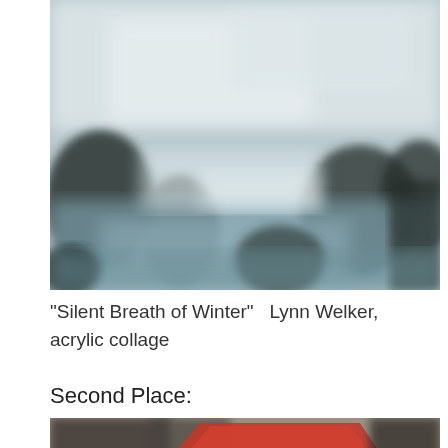[Figure (photo): A blurred winter landscape painting showing muted blues, whites, and dark shapes suggesting trees or bushes in a wintry scene. The image is rendered in soft, hazy tones with a mostly white and pale blue palette.]
“Silent Breath of Winter”    Lynn Welker, acrylic collage
Second Place:
[Figure (photo): A painting showing a red-roofed structure or barn with dark trees in the background, rendered in muted earthy tones with a reddish-orange roof as the focal point.]